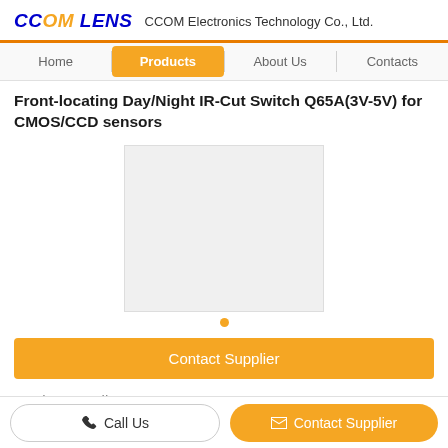CCOM LENS  CCOM Electronics Technology Co., Ltd.
Home | Products | About Us | Contacts
Front-locating Day/Night IR-Cut Switch Q65A(3V-5V) for CMOS/CCD sensors
[Figure (photo): Product image placeholder — light gray rectangle representing product photo of the IR-Cut Switch Q65A]
Contact Supplier
Product Details
Call Us
Contact Supplier